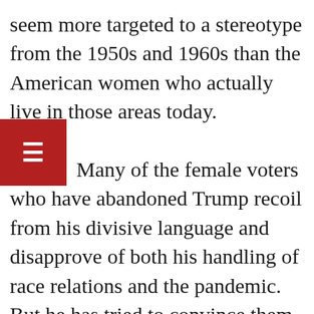seem more targeted to a stereotype from the 1950s and 1960s than the American women who actually live in those areas today. Many of the female voters who have abandoned Trump recoil from his divisive language and disapprove of both his handling of race relations and the pandemic. But he has tried to convince them to support him through a campaign of fear and xenophobia, with claims about the Democratic agenda that plunge deep into the realm of the ridiculous and would be believed only by the most naïve, low-information voters. His speech Saturday night in Michigan...